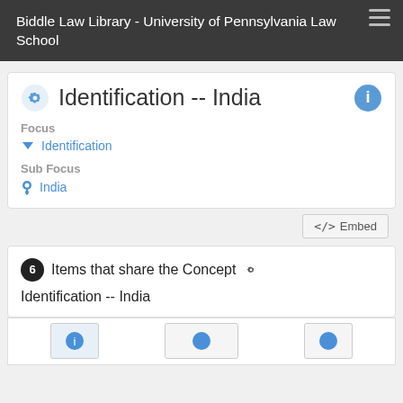Biddle Law Library - University of Pennsylvania Law School
Identification -- India
Focus
Identification
Sub Focus
India
</> Embed
6 Items that share the Concept ⚙ Identification -- India